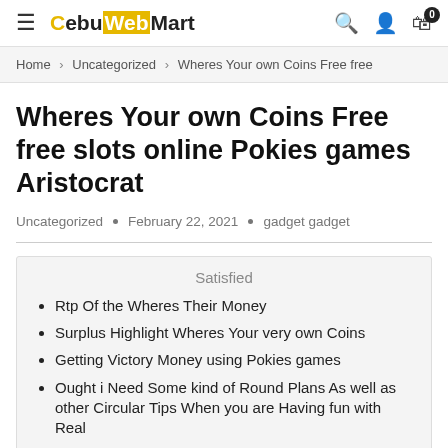CebuWebMart
Home > Uncategorized > Wheres Your own Coins Free free
Wheres Your own Coins Free free slots online Pokies games Aristocrat
Uncategorized • February 22, 2021 • gadget gadget
Rtp Of the Wheres Their Money
Surplus Highlight Wheres Your very own Coins
Getting Victory Money using Pokies games
Ought i Need Some kind of Round Plans As well as other Circular Tips When you are Having fun with Real